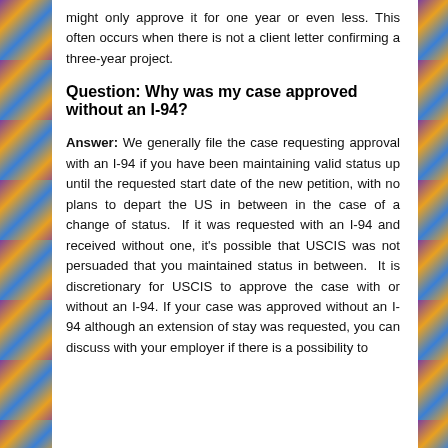might only approve it for one year or even less. This often occurs when there is not a client letter confirming a three-year project.
Question: Why was my case approved without an I-94?
Answer: We generally file the case requesting approval with an I-94 if you have been maintaining valid status up until the requested start date of the new petition, with no plans to depart the US in between in the case of a change of status. If it was requested with an I-94 and received without one, it's possible that USCIS was not persuaded that you maintained status in between. It is discretionary for USCIS to approve the case with or without an I-94. If your case was approved without an I-94 although an extension of stay was requested, you can discuss with your employer if there is a possibility to